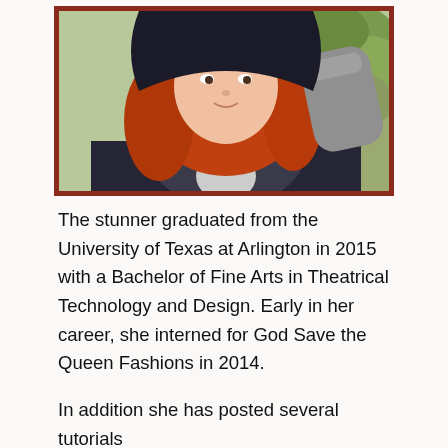[Figure (photo): Selfie of a young woman with long auburn/red hair wearing a dark jacket with hood and gray gloves, outdoors with foliage in background]
The stunner graduated from the University of Texas at Arlington in 2015 with a Bachelor of Fine Arts in Theatrical Technology and Design. Early in her career, she interned for God Save the Queen Fashions in 2014.
In addition she has posted several tutorials